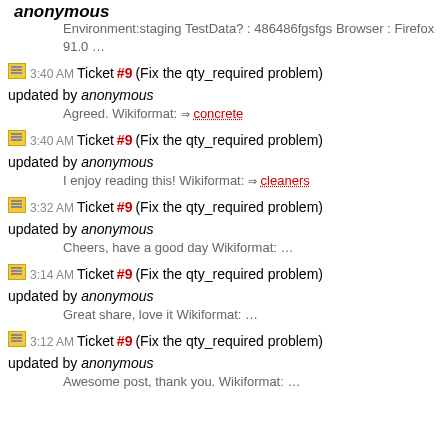anonymous
Environment:staging TestData? : 486486fgsfgs Browser : Firefox 91.0 …
3:40 AM Ticket #9 (Fix the qty_required problem) updated by anonymous
Agreed. Wikiformat: ⇒ concrete
3:40 AM Ticket #9 (Fix the qty_required problem) updated by anonymous
I enjoy reading this! Wikiformat: ⇒ cleaners
3:32 AM Ticket #9 (Fix the qty_required problem) updated by anonymous
Cheers, have a good day Wikiformat: …
3:14 AM Ticket #9 (Fix the qty_required problem) updated by anonymous
Great share, love it Wikiformat: …
3:12 AM Ticket #9 (Fix the qty_required problem) updated by anonymous
Awesome post, thank you. Wikiformat: …